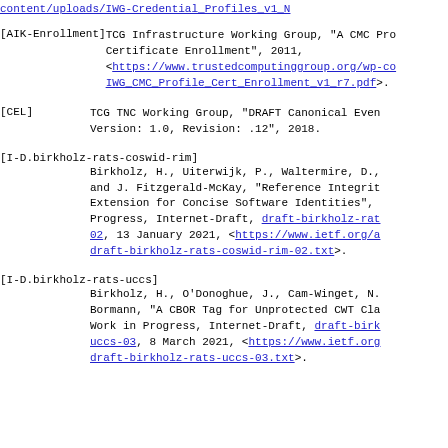content/uploads/IWG-Credential_Profiles_v1_N...
[AIK-Enrollment]   TCG Infrastructure Working Group, "A CMC Pro... Certificate Enrollment", 2011, <https://www.trustedcomputinggroup.org/wp-co... IWG_CMC_Profile_Cert_Enrollment_v1_r7.pdf>.
[CEL]   TCG TNC Working Group, "DRAFT Canonical Even... Version: 1.0, Revision: .12", 2018.
[I-D.birkholz-rats-coswid-rim]   Birkholz, H., Uiterwijk, P., Waltermire, D., and J. Fitzgerald-McKay, "Reference Integrit... Extension for Concise Software Identities", Progress, Internet-Draft, draft-birkholz-rat... 02, 13 January 2021, <https://www.ietf.org/a... draft-birkholz-rats-coswid-rim-02.txt>.
[I-D.birkholz-rats-uccs]   Birkholz, H., O'Donoghue, J., Cam-Winget, N... Bormann, "A CBOR Tag for Unprotected CWT Cla... Work in Progress, Internet-Draft, draft-birk... uccs-03, 8 March 2021, <https://www.ietf.org... draft-birkholz-rats-uccs-03.txt>.